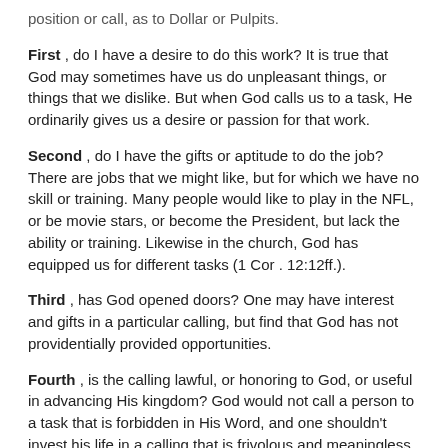position or call, as to Dollar or Pulpits.
First , do I have a desire to do this work? It is true that God may sometimes have us do unpleasant things, or things that we dislike. But when God calls us to a task, He ordinarily gives us a desire or passion for that work.
Second , do I have the gifts or aptitude to do the job? There are jobs that we might like, but for which we have no skill or training. Many people would like to play in the NFL, or be movie stars, or become the President, but lack the ability or training. Likewise in the church, God has equipped us for different tasks (1 Cor . 12:12ff.).
Third , has God opened doors? One may have interest and gifts in a particular calling, but find that God has not providentially provided opportunities.
Fourth , is the calling lawful, or honoring to God, or useful in advancing His kingdom? God would not call a person to a task that is forbidden in His Word, and one shouldn't invest his life in a calling that is frivolous and meaningless.
Fifth , do I have a confirming witness? Godly counselors